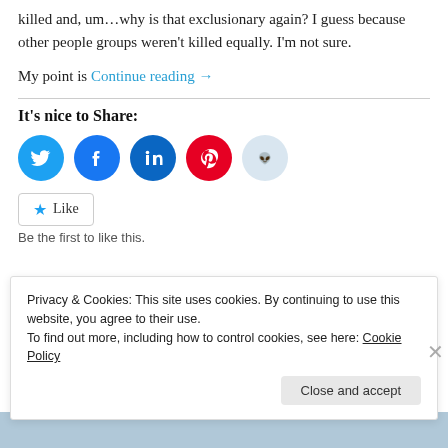killed and, um…why is that exclusionary again?  I guess because other people groups weren't killed equally.  I'm not sure.
My point is Continue reading →
It's nice to Share:
[Figure (infographic): Row of social media share icons: Twitter (blue), Facebook (blue), LinkedIn (dark blue), Pinterest (red), Reddit (light blue)]
★ Like
Be the first to like this.
Privacy & Cookies: This site uses cookies. By continuing to use this website, you agree to their use.
To find out more, including how to control cookies, see here: Cookie Policy
Close and accept